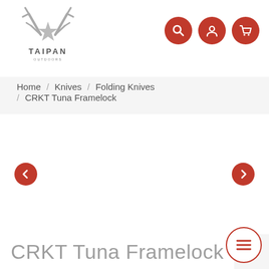[Figure (logo): Taipan Outdoors logo with antler/star emblem and TAIPAN text below]
[Figure (infographic): Three red circular icon buttons: search, user account, and shopping cart]
Home / Knives / Folding Knives / CRKT Tuna Framelock
[Figure (infographic): Left arrow red circle button (previous slide)]
[Figure (infographic): Right arrow red circle button (next slide)]
CRKT Tuna Framelock
[Figure (infographic): Floating hamburger menu button with red border circle on bottom right]